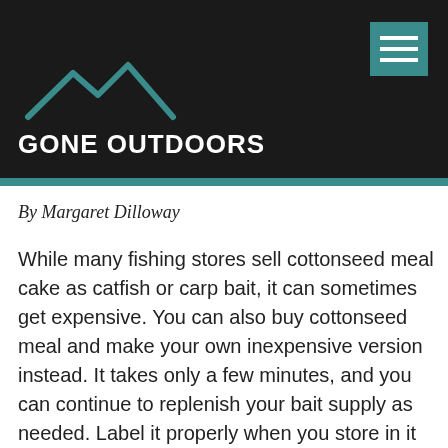GONE OUTDOORS
By Margaret Dilloway
While many fishing stores sell cottonseed meal cake as catfish or carp bait, it can sometimes get expensive. You can also buy cottonseed meal and make your own inexpensive version instead. It takes only a few minutes, and you can continue to replenish your bait supply as needed. Label it properly when you store in it in the refrigerator, so no one will mistake it for a snack.